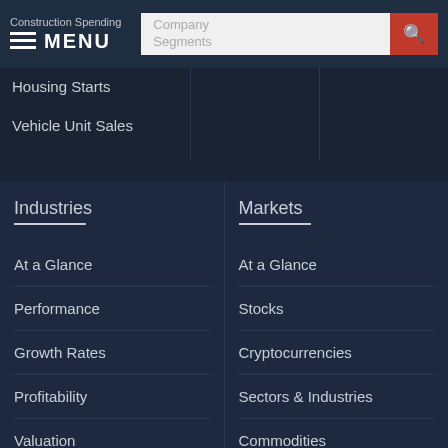MENU
Construction Spending
Housing Starts
Vehicle Unit Sales
Industries
At a Glance
Performance
Growth Rates
Profitability
Valuation
Financial Strength
Markets
At a Glance
Stocks
Cryptocurrencies
Sectors & Industries
Commodities
Currencies